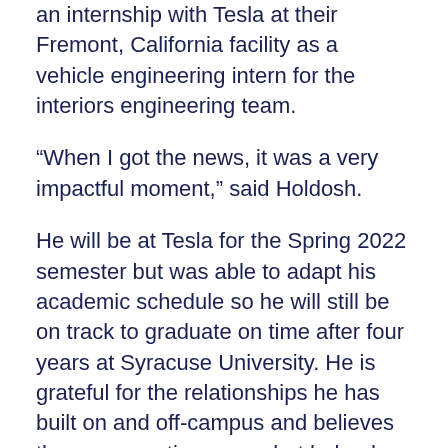an internship with Tesla at their Fremont, California facility as a vehicle engineering intern for the interiors engineering team.
“When I got the news, it was a very impactful moment,” said Holdosh.
He will be at Tesla for the Spring 2022 semester but was able to adapt his academic schedule so he will still be on track to graduate on time after four years at Syracuse University. He is grateful for the relationships he has built on and off-campus and believes those connections are what helped him land the position at Tesla.
“Connections have meant a great deal to